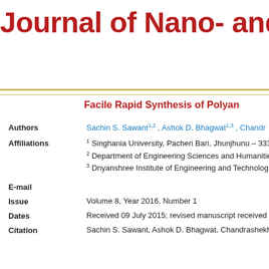Journal of Nano- and E
Facile Rapid Synthesis of Polyan
Authors: Sachin S. Sawant1,2 , Ashok D. Bhagwat1,3 , Chandr
Affiliations: 1 Singhania University, Pacheri Bari, Jhunjhunu – 333; 2 Department of Engineering Sciences and Humanitie; 3 Dnyanshree Institute of Engineering and Technolog
E-mail
Issue: Volume 8, Year 2016, Number 1
Dates: Received 09 July 2015; revised manuscript received
Citation: Sachin S. Sawant, Ashok D. Bhagwat, Chandrashekh